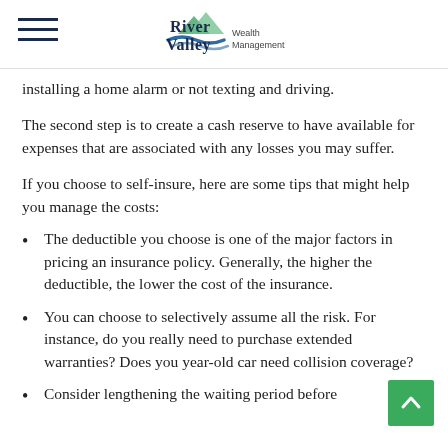River Valley Wealth Management
installing a home alarm or not texting and driving.
The second step is to create a cash reserve to have available for expenses that are associated with any losses you may suffer.
If you choose to self-insure, here are some tips that might help you manage the costs:
The deductible you choose is one of the major factors in pricing an insurance policy. Generally, the higher the deductible, the lower the cost of the insurance.
You can choose to selectively assume all the risk. For instance, do you really need to purchase extended warranties? Does your year-old car need collision coverage?
Consider lengthening the waiting period before